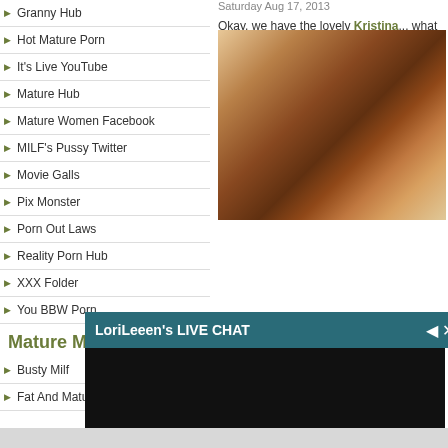Granny Hub
Hot Mature Porn
It's Live YouTube
Mature Hub
Mature Women Facebook
MILF's Pussy Twitter
Movie Galls
Pix Monster
Porn Out Laws
Reality Porn Hub
XXX Folder
You BBW Porn
Mature MILF Fr...
Busty Milf
Fat And Mature
Saturday Aug 17, 2013
Okay, we have the lovely Kristina... what she came to Vegas for.
[Figure (photo): Close-up photo of a person lying down]
LoriLeeen's LIVE CHAT